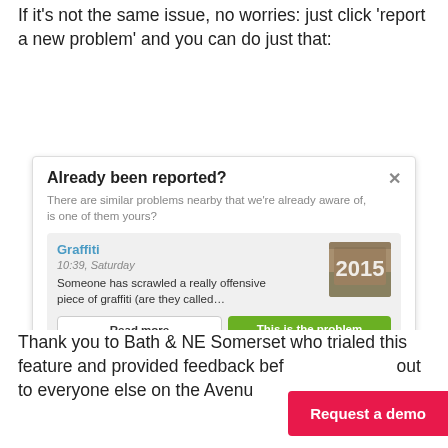If it's not the same issue, no worries: just click 'report a new problem' and you can do just that:
[Figure (screenshot): A modal dialog titled 'Already been reported?' showing a graffiti report card with a photo thumbnail, 'Read more' and 'This is the problem' buttons, and a highlighted 'Continue – report a new problem' button.]
Thank you to Bath & NE Somerset who trialed this feature and provided feedback before we rolled it out to everyone else on the Avenue...